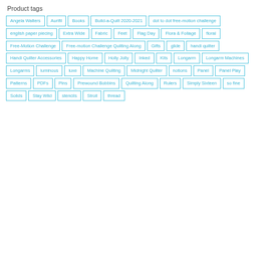Product tags
Angela Walters
Aurifil
Books
Build-a-Quilt 2020-2021
dot to dot free-motion challenge
english paper piecing
Extra Wide
Fabric
Feet
Flag Day
Flora & Foliage
floral
Free-Motion Challenge
Free-motion Challenge Quilting Along
Gifts
glide
handi quilter
Handi Quilter Accessories
Happy Home
Holly Jolly
Inked
Kits
Longarm
Longarm Machines
Longarms
luminous
luxe
Machine Quilting
Midnight Quilter
notions
Panel
Panel Play
Patterns
PDFs
Pins
Prewound Bobbins
Quilting Along
Rulers
Simply Sixteen
so fine
Solids
Stay Wild
stencils
Stroll
thread